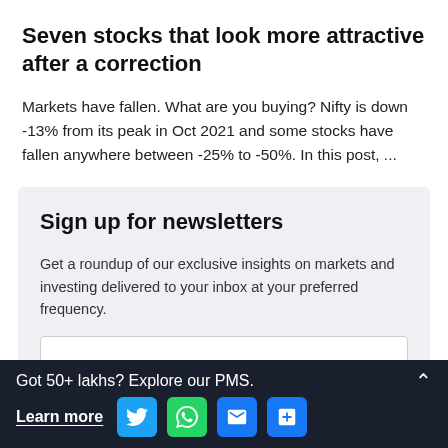Seven stocks that look more attractive after a correction
Markets have fallen. What are you buying? Nifty is down -13% from its peak in Oct 2021 and some stocks have fallen anywhere between -25% to -50%. In this post, ...
Sign up for newsletters
Get a roundup of our exclusive insights on markets and investing delivered to your inbox at your preferred frequency.
Got 50+ lakhs? Explore our PMS.
Learn more